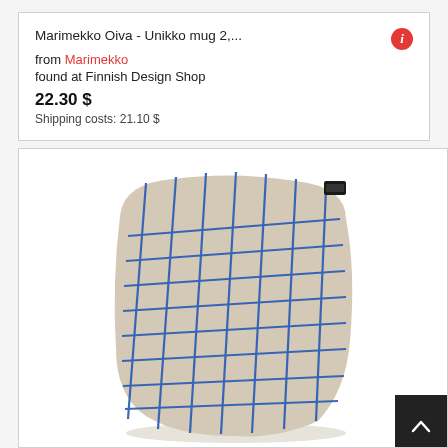Marimekko Oiva - Unikko mug 2,...
from Marimekko
found at Finnish Design Shop
22.30 $
Shipping costs: 21.10 $
[Figure (photo): A Marimekko cushion cover with a beige/sand background and a blue grid/check pattern. The pillow is square shaped and has a small dark label tag visible at the top right corner.]